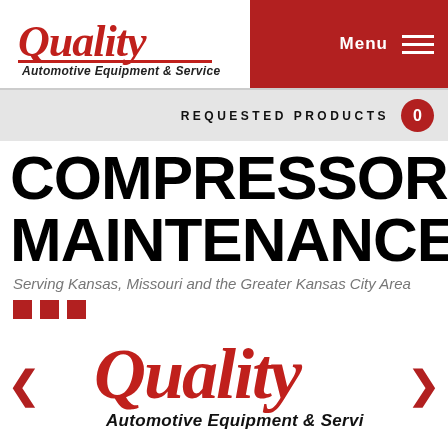[Figure (logo): Quality Automotive Equipment & Service logo in header navigation bar, red italic script 'Quality' with black sans-serif tagline]
Menu
REQUESTED PRODUCTS 0
COMPRESSOR MAINTENANCE
Serving Kansas, Missouri and the Greater Kansas City Area
[Figure (logo): Large Quality Automotive Equipment & Service logo centered in carousel slider, red italic script 'Quality' above black bold 'Automotive Equipment & Service']
CHAMPION AUTHORIZED DEALER